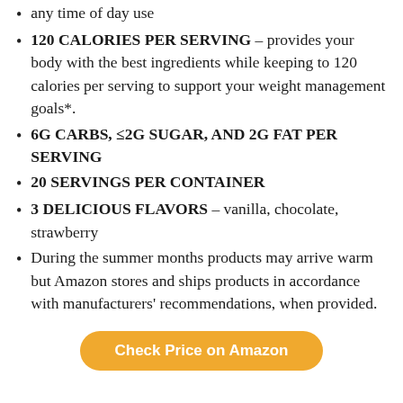any time of day use
120 CALORIES PER SERVING – provides your body with the best ingredients while keeping to 120 calories per serving to support your weight management goals*.
6G CARBS, ≤2G SUGAR, AND 2G FAT PER SERVING
20 SERVINGS PER CONTAINER
3 DELICIOUS FLAVORS – vanilla, chocolate, strawberry
During the summer months products may arrive warm but Amazon stores and ships products in accordance with manufacturers' recommendations, when provided.
Check Price on Amazon